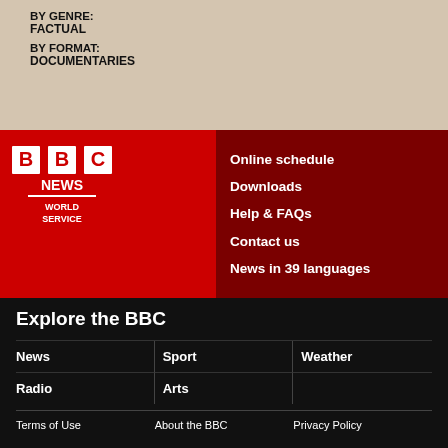BY GENRE:
FACTUAL
BY FORMAT:
DOCUMENTARIES
[Figure (logo): BBC News World Service logo - white BBC block letters on red background with NEWS text and WORLD SERVICE below]
Online schedule
Downloads
Help & FAQs
Contact us
News in 39 languages
Explore the BBC
News
Sport
Weather
Radio
Arts
Terms of Use   About the BBC   Privacy Policy